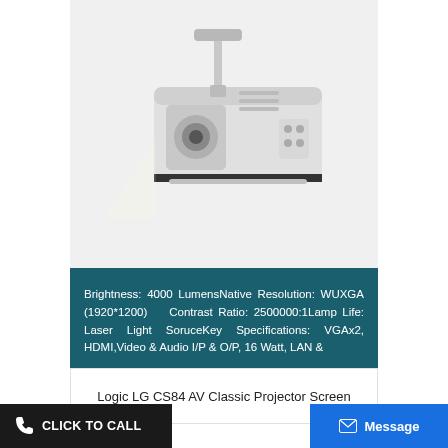[Figure (photo): Photo of a wall-mounted projector (Epson or similar brand) in white/grey color, mounted on a wall bracket, viewed from below-front angle against a light grey background.]
Brightness: 4000 LumensNative Resolution: WUXGA (1920*1200)   Contrast Ratio: 2500000:1Lamp Life: Laser Light SoruceKey Specifications: VGAx2, HDMI,Video & Audio I/P & O/P, 16 Watt, LAN &
View More
Logic LG CS84 AV Classic Projector Screen
CLICK TO CALL
Message